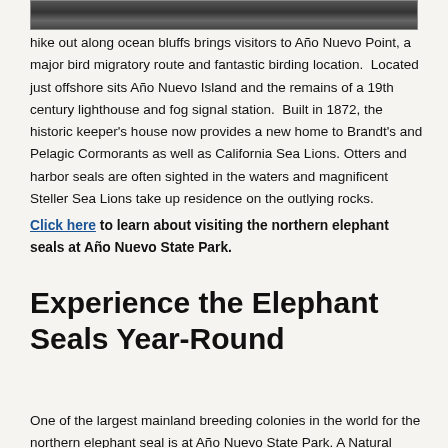[Figure (photo): Partial view of a photo strip showing people or wildlife at Año Nuevo, cropped at the top of the page]
hike out along ocean bluffs brings visitors to Año Nuevo Point, a major bird migratory route and fantastic birding location.  Located just offshore sits Año Nuevo Island and the remains of a 19th century lighthouse and fog signal station.  Built in 1872, the historic keeper's house now provides a new home to Brandt's and Pelagic Cormorants as well as California Sea Lions. Otters and harbor seals are often sighted in the waters and magnificent Steller Sea Lions take up residence on the outlying rocks.
Click here to learn about visiting the northern elephant seals at Año Nuevo State Park.
Experience the Elephant Seals Year-Round
One of the largest mainland breeding colonies in the world for the northern elephant seal is at Año Nuevo State Park. A Natural